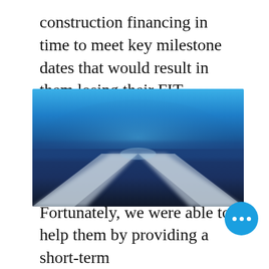construction financing in time to meet key milestone dates that would result in them losing their FIT contracts.
[Figure (photo): Aerial or wide-angle photograph of solar panels under a blue sky, slightly blurred/abstract, showing two angled panel structures converging toward the center against a blue background.]
Fortunately, we were able to help them by providing a short-term